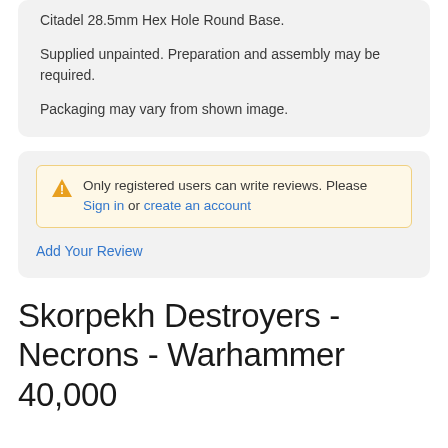Citadel 28.5mm Hex Hole Round Base.
Supplied unpainted. Preparation and assembly may be required.
Packaging may vary from shown image.
Only registered users can write reviews. Please Sign in or create an account
Add Your Review
Skorpekh Destroyers - Necrons - Warhammer 40,000